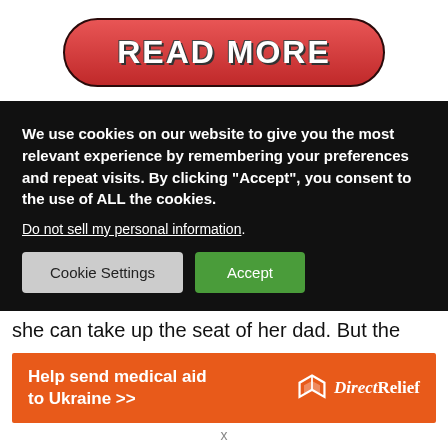[Figure (screenshot): Red pill-shaped READ MORE button with white bold text and dark border]
We use cookies on our website to give you the most relevant experience by remembering your preferences and repeat visits. By clicking “Accept”, you consent to the use of ALL the cookies. Do not sell my personal information. Cookie Settings  Accept
she can take up the seat of her dad. But the
[Figure (screenshot): Orange advertisement banner: Help send medical aid to Ukraine >> with DirectRelief logo]
x